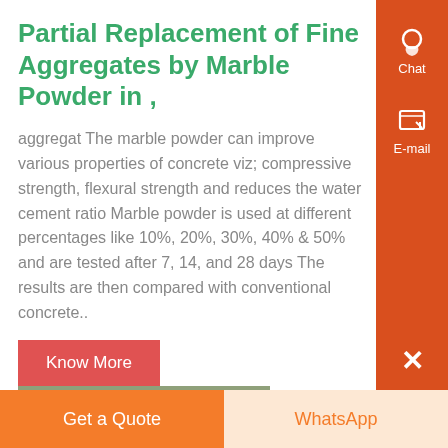Partial Replacement of Fine Aggregates by Marble Powder in ,
aggregat The marble powder can improve various properties of concrete viz; compressive strength, flexural strength and reduces the water cement ratio Marble powder is used at different percentages like 10%, 20%, 30%, 40% & 50% and are tested after 7, 14, and 28 days The results are then compared with conventional concrete..
[Figure (photo): Industrial machinery inside a warehouse/factory building, showing large white/cream-colored industrial equipment with pipes and supports.]
Amazon: marble powder
Get a Quote   WhatsApp